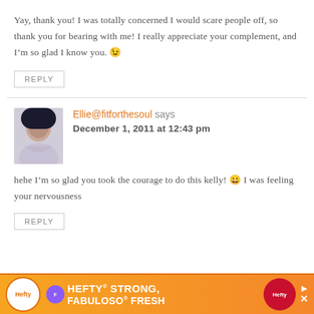Yay, thank you! I was totally concerned I would scare people off, so thank you for bearing with me! I really appreciate your complement, and I'm so glad I know you. 😉
REPLY
Ellie@fitforthesoul says
December 1, 2011 at 12:43 pm
hehe I'm so glad you took the courage to do this kelly! 😀 I was feeling your nervousness
REPLY
[Figure (infographic): Hefty Strong, Fabuloso Fresh advertisement banner in orange]